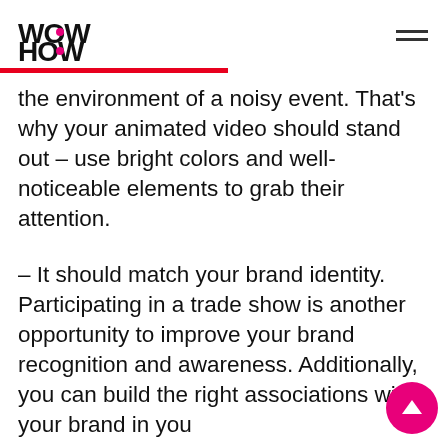WOW HOW STUDIO
the environment of a noisy event. That's why your animated video should stand out – use bright colors and well-noticeable elements to grab their attention.
– It should match your brand identity. Participating in a trade show is another opportunity to improve your brand recognition and awareness. Additionally, you can build the right associations with your brand in your